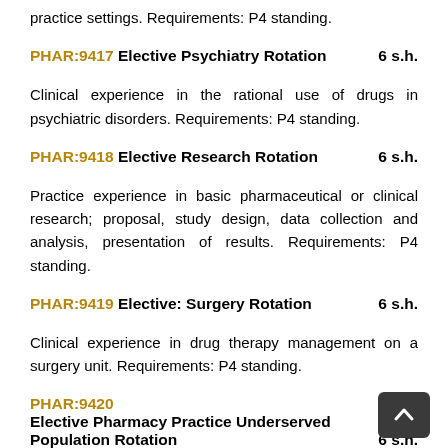practice settings. Requirements: P4 standing.
PHAR:9417 Elective Psychiatry Rotation 6 s.h.
Clinical experience in the rational use of drugs in psychiatric disorders. Requirements: P4 standing.
PHAR:9418 Elective Research Rotation 6 s.h.
Practice experience in basic pharmaceutical or clinical research; proposal, study design, data collection and analysis, presentation of results. Requirements: P4 standing.
PHAR:9419 Elective: Surgery Rotation 6 s.h.
Clinical experience in drug therapy management on a surgery unit. Requirements: P4 standing.
PHAR:9420 Elective Pharmacy Practice Underserved Population Rotation 6 s.h.